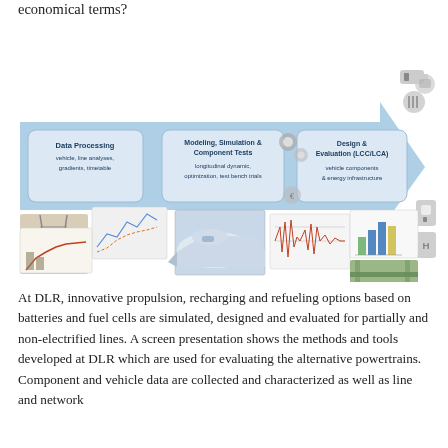economical terms?
[Figure (infographic): A three-stage process flow diagram with a large blue arrow pointing right. Three rounded rectangle boxes labeled: 'Data Processing' (vehicle, line analyses, gradients, timetable), 'Modeling, Simulation & Component Tests' (longitudinal dynamic, optimization, test bench trials), 'Design & Evaluation (LCC/LCA)' (vehicle components & energy infrastructure). Below the arrow are images of railway tracks, charts, a high-speed train, signal analysis screenshots, bar charts, and a railway track photo. To the right are icons for battery, fuel cell, EV charger, and hydrogen station.]
At DLR, innovative propulsion, recharging and refueling options based on batteries and fuel cells are simulated, designed and evaluated for partially and non-electrified lines. A screen presentation shows the methods and tools developed at DLR which are used for evaluating the alternative powertrains. Component and vehicle data are collected and characterized as well as line and network